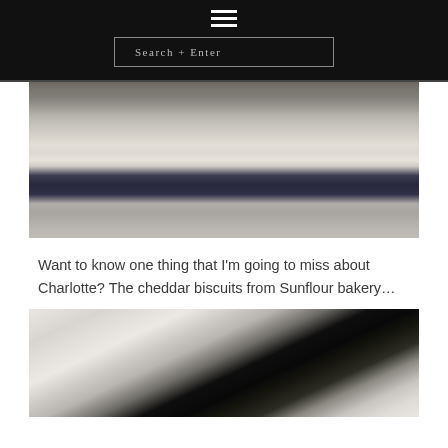≡  Search + Enter
[Figure (photo): Fashion photo showing a person from waist down wearing dark skinny jeans, grey sneakers, and carrying a light pink crossbody bag, standing on a sidewalk near brick steps]
Want to know one thing that I'm going to miss about Charlotte? The cheddar biscuits from Sunflour bakery...
[Figure (photo): Flat-lay photo on a marble surface showing aviator sunglasses with dark green lenses, a smartphone, and a gold/brass rectangular tray]